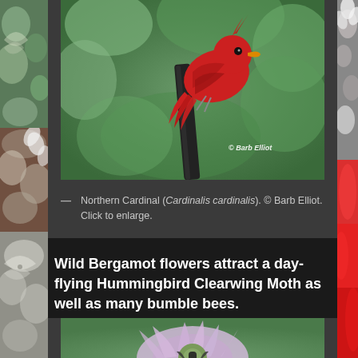[Figure (photo): Northern Cardinal (red bird) perched on a dark metal pole, photographed by Barb Elliot. Green blurred background. Watermark '© Barb Elliot' visible on photo.]
— Northern Cardinal (Cardinalis cardinalis). © Barb Elliot. Click to enlarge.
Wild Bergamot flowers attract a day-flying Hummingbird Clearwing Moth as well as many bumble bees.
[Figure (photo): Wild Bergamot flower (light purple/lavender) with spiky petals, green background, photographed from above.]